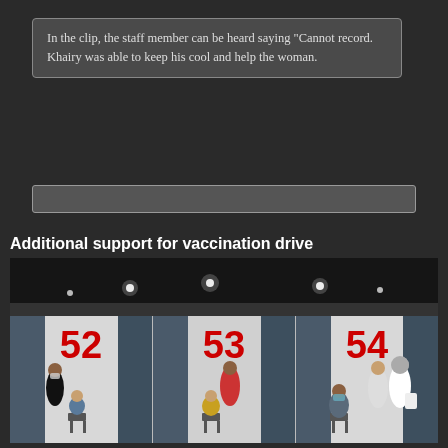In the clip, the staff member can be heard saying "Cannot record. Khairy was able to keep his cool and help the woman.
[Figure (screenshot): An empty input/search box UI element]
Additional support for vaccination drive
[Figure (photo): A vaccination centre with numbered booths 52, 53, and 54. People are seated and standing near curtained booths. A healthcare worker in hijab attends to a patient near booth 54.]